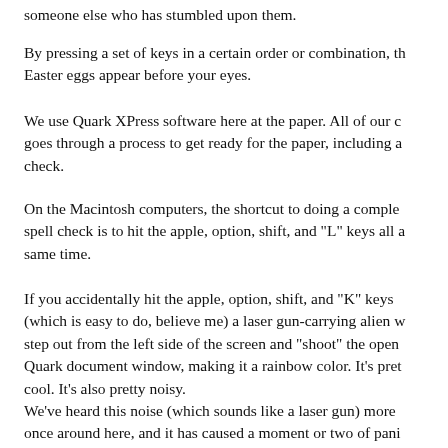someone else who has stumbled upon them.
By pressing a set of keys in a certain order or combination, th Easter eggs appear before your eyes.
We use Quark XPress software here at the paper. All of our c goes through a process to get ready for the paper, including a check.
On the Macintosh computers, the shortcut to doing a comple spell check is to hit the apple, option, shift, and "L" keys all a same time.
If you accidentally hit the apple, option, shift, and "K" keys (which is easy to do, believe me) a laser gun-carrying alien w step out from the left side of the screen and "shoot" the open Quark document window, making it a rainbow color. It's pret cool. It's also pretty noisy.
We've heard this noise (which sounds like a laser gun) more once around here, and it has caused a moment or two of pani never hurts anything, but panic sets when your hard work jus and disappears.